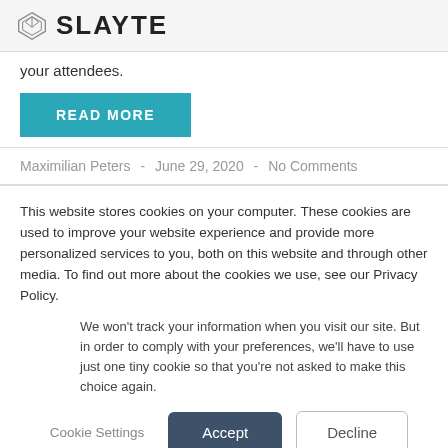SLAYTE
your attendees.
READ MORE
Maximilian Peters  -  June 29, 2020  -  No Comments
This website stores cookies on your computer. These cookies are used to improve your website experience and provide more personalized services to you, both on this website and through other media. To find out more about the cookies we use, see our Privacy Policy.
We won't track your information when you visit our site. But in order to comply with your preferences, we'll have to use just one tiny cookie so that you're not asked to make this choice again.
Cookie Settings   Accept   Decline